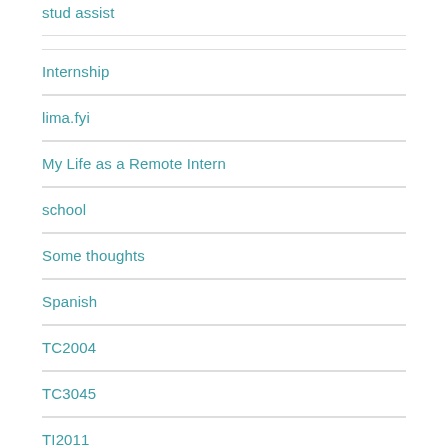Internship
lima.fyi
My Life as a Remote Intern
school
Some thoughts
Spanish
TC2004
TC3045
TI2011